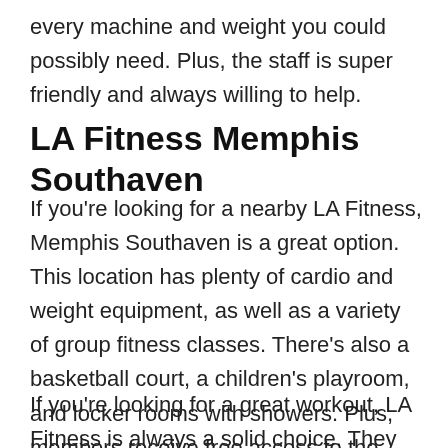every machine and weight you could possibly need. Plus, the staff is super friendly and always willing to help.
LA Fitness Memphis Southaven
If you’re looking for a nearby LA Fitness, Memphis Southaven is a great option. This location has plenty of cardio and weight equipment, as well as a variety of group fitness classes. There’s also a basketball court, a children’s playroom, and locker rooms with showers. Plus, members receive free access to the Southaven Aquatic Center.
If you’re looking for a great workout, LA Fitness is always a solid choice. They have locations all over the